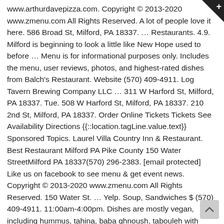www.arthurdavepizza.com. Copyright © 2013-2020 www.zmenu.com All Rights Reserved. A lot of people love it here. 586 Broad St, Milford, PA 18337. … Restaurants. 4.9. Milford is beginning to look a little like New Hope used to before … Menu is for informational purposes only. Includes the menu, user reviews, photos, and highest-rated dishes from Balch's Restaurant. Website (570) 409-4911. Log Tavern Brewing Company LLC … 311 W Harford St, Milford, PA 18337. Tue. 508 W Harford St, Milford, PA 18337. 210 2nd St, Milford, PA 18337. Order Online Tickets Tickets See Availability Directions {{::location.tagLine.value.text}} Sponsored Topics. Laurel Villa Country Inn & Restaurant. Best Restaurant Milford PA Pike County 150 Water StreetMilford PA 18337(570) 296-2383. [email protected] Like us on facebook to see menu & get event news. Copyright © 2013-2020 www.zmenu.com All Rights Reserved. 150 Water St. … Yelp. Soup, Sandwiches $ (570) 409-4911. 11:00am-4:00pm. Dishes are mostly vegan, including hummus, tahina, baba ghnoush, tabouleh with quinoa falafel, mujadara, and a variety of salads. Fri. 11:00am-6:00pm. PA; Milford; Restaurants; Spoonful; CCPA. Bedste restauranter i Milford, Pennsylvania: Se Tripadvisor-rejsendes anmeldelser af restauranter i Milford, og søg på køkken, pris, sted og meget mere. Claim now to immediately update business information and menu! From Business: Soup and...